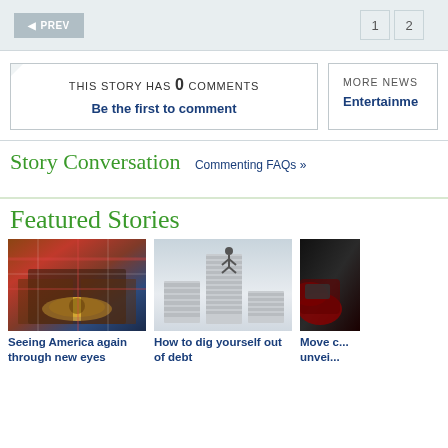◄ PREV  1  2
THIS STORY HAS 0 COMMENTS
Be the first to comment
MORE NEWS
Entertainment
Story Conversation  Commenting FAQs »
Featured Stories
[Figure (photo): Close-up of a person wearing jeans with a decorative belt buckle featuring a hand print design]
Seeing America again through new eyes
[Figure (photo): Person climbing a tall stack of paper documents]
How to dig yourself out of debt
[Figure (photo): Partial view of a red car in dark background]
Move c... unvei...